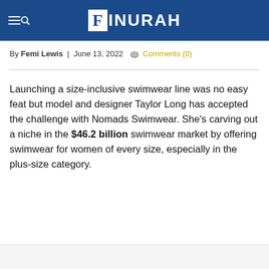FINURAH
By Femi Lewis | June 13, 2022 Comments (0)
Launching a size-inclusive swimwear line was no easy feat but model and designer Taylor Long has accepted the challenge with Nomads Swimwear. She's carving out a niche in the $46.2 billion swimwear market by offering swimwear for women of every size, especially in the plus-size category.